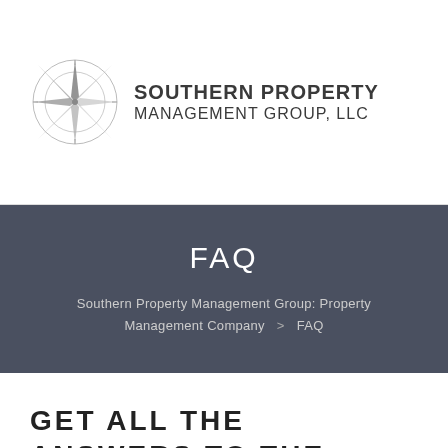[Figure (logo): Southern Property Management Group LLC compass/star logo with company name text]
FAQ
Southern Property Management Group: Property Management Company > FAQ
GET ALL THE ANSWERS TO THE MOST FREQUENTLY ASKED QUESTIONS